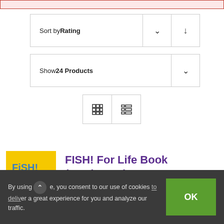[Figure (screenshot): Pink/red notification bar at top of page]
Sort by Rating
Show 24 Products
[Figure (other): Grid and list view toggle buttons]
[Figure (photo): Book cover: FISH! For Life book cover, yellow background]
FISH! For Life Book (Hardcover)
$22.00
By using this site, you consent to our use of cookies to deliver a great experience for you and analyze our traffic.